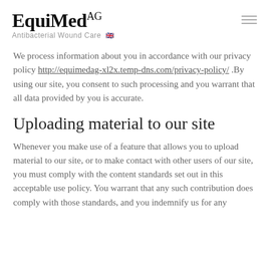EquiMed AG — Antibacterial Wound Care
We process information about you in accordance with our privacy policy http://equimedag-xl2x.temp-dns.com/privacy-policy/ .By using our site, you consent to such processing and you warrant that all data provided by you is accurate.
Uploading material to our site
Whenever you make use of a feature that allows you to upload material to our site, or to make contact with other users of our site, you must comply with the content standards set out in this acceptable use policy. You warrant that any such contribution does comply with those standards, and you indemnify us for any